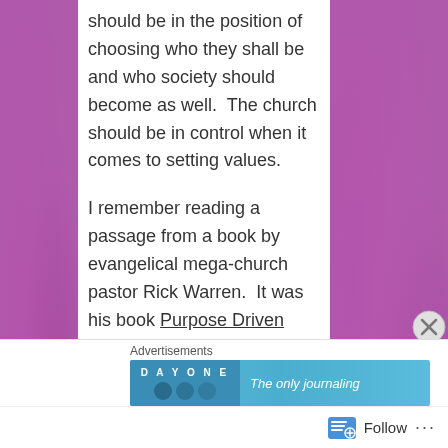should be in the position of choosing who they shall be and who society should become as well.  The church should be in control when it comes to setting values.

I remember reading a passage from a book by evangelical mega-church pastor Rick Warren.  It was his book Purpose Driven Church in which he said a church needs to have a target culture, a target
[Figure (screenshot): Advertisement banner for DayOne journaling app with blue gradient background showing 'DAY ONE' text and circles logo alongside text 'The only journaling']
Advertisements  Follow ...